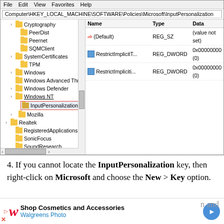[Figure (screenshot): Windows Registry Editor screenshot showing HKEY_LOCAL_MACHINE\SOFTWARE\Policies\Microsoft\InputPersonalization key selected in the left pane tree, with the right pane showing Name/Type/Data columns with entries: (Default) REG_SZ (value not set), RestrictImplicitT... REG_DWORD 0x00000000 (0), RestrictImpliciti... REG_DWORD 0x00000000 (0). The InputPersonalization folder is highlighted with a red rectangle. The tree also shows entries for Cryptography, PeerDist, Peernet, SQMClient, SystemCertificates, TPM, Windows, Windows Advanced Threa, Windows Defender, Windows NT, InputPersonalization, Mozilla, Realtek, RegisteredApplications, SonicFocus, SoundResearch, SRS Labs, Windows, WOW6432Node, Yamaha APO, SYSTEM, HKEY_USERS, HKEY_CURRENT_CONFIG.]
4. If you cannot locate the InputPersonalization key, then right-click on Microsoft and choose the New > Key option.
5. N... n and c...